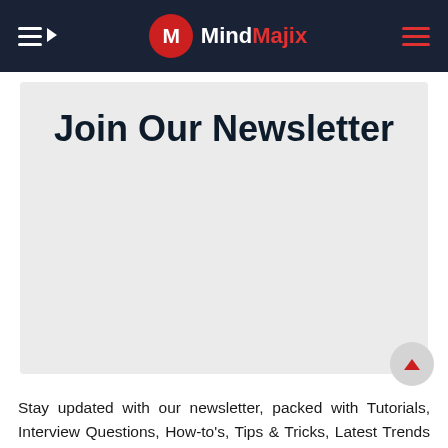MindMajix
Join Our Newsletter
Stay updated with our newsletter, packed with Tutorials, Interview Questions, How-to's, Tips & Tricks, Latest Trends & Updates, and more.